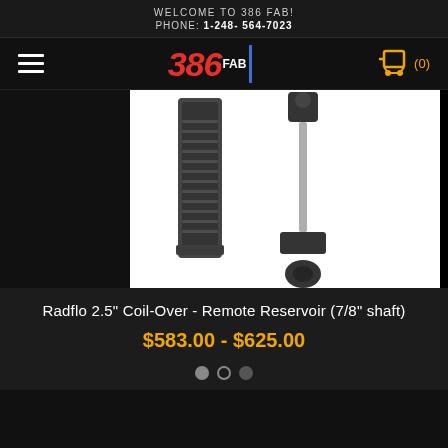WELCOME TO 386 FAB!
PHONE: 1-248- 564-7023
[Figure (logo): 386 FAB logo in red italic bold text with white FAB label and blue vertical bar, plus hamburger menu icon and yellow shopping cart icon with (0)]
[Figure (photo): Product photo of a Radflo 2.5 inch Coil-Over Remote Reservoir shock absorber with 7/8 inch shaft against black background showing the shock body with reservoir on left and extended shaft with lower mount on right]
Radflo 2.5" Coil-Over - Remote Reservoir (7/8" shaft)
$583.00 - $625.00